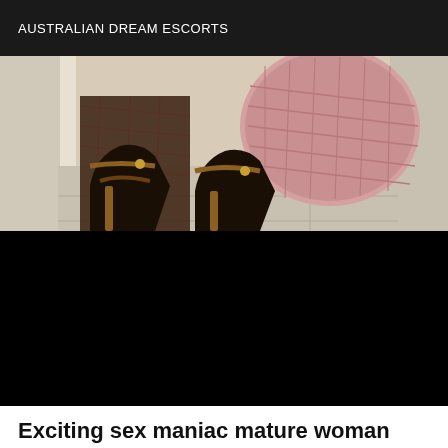AUSTRALIAN DREAM ESCORTS
[Figure (photo): Close-up photo of high-heeled sandals with fishnet stockings on a tiled floor, with a pink wicker object in background]
[Figure (photo): Black/blank image area]
Exciting sex maniac mature woman
Speed dating Stonecrest
I am a mature woman who wants to experience sex with